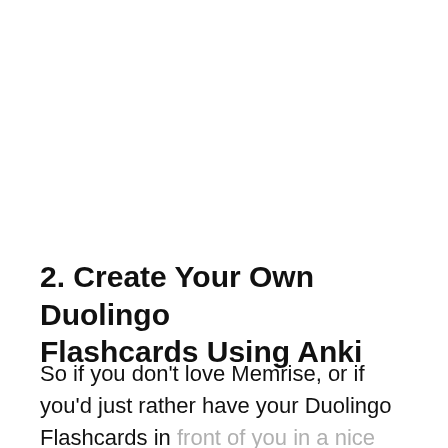2. Create Your Own Duolingo Flashcards Using Anki
So if you don't love Memrise, or if you'd just rather have your Duolingo Flashcards in front of you in a nice and organized place